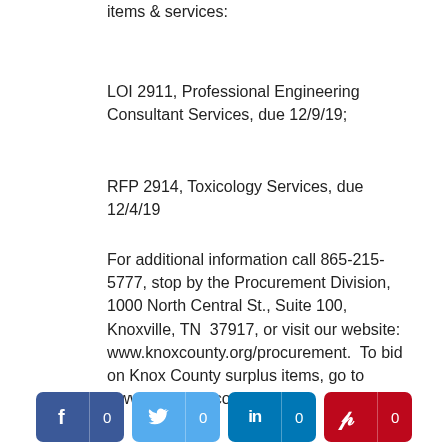items & services:
LOI 2911, Professional Engineering Consultant Services, due 12/9/19;
RFP 2914, Toxicology Services, due 12/4/19
For additional information call 865-215-5777, stop by the Procurement Division, 1000 North Central St., Suite 100, Knoxville, TN  37917, or visit our website: www.knoxcounty.org/procurement.  To bid on Knox County surplus items, go to www.govdeals.com.
[Figure (infographic): Social media share buttons for Facebook (f, 0), Twitter (bird icon, 0), LinkedIn (in, 0), and Pinterest (P, 0)]